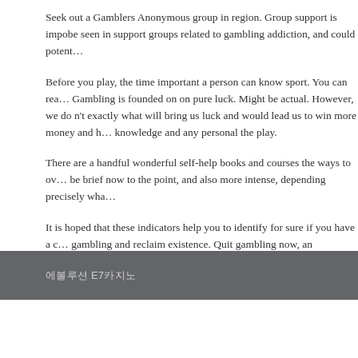Seek out a Gamblers Anonymous group in region. Group support is impo... be seen in support groups related to gambling addiction, and could potent...
Before you play, the time important a person can know sport. You can rea... Gambling is founded on on pure luck. Might be actual. However, we do n't... exactly what will bring us luck and would lead us to win more money and h... knowledge and any personal the play.
There are a handful wonderful self-help books and courses the ways to ov... be brief now to the point, and also more intense, depending precisely wha...
It is hoped that these indicators help you to identify for sure if you have a c... gambling and reclaim existence. Quit gambling now, an individual will call...
FILED UNDER: UNCATEGORIZED
에볼루션 E7카지노